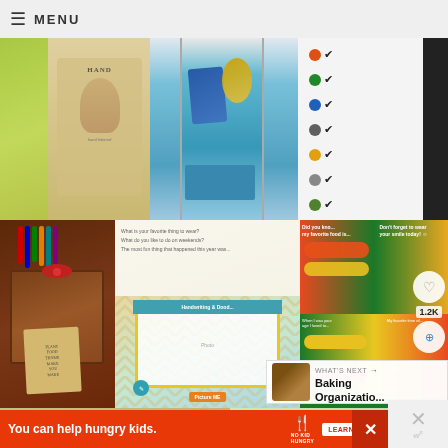≡ MENU
[Figure (photo): Grid of craft and organization photos including a hand-printed sign with leafy background, a teal locker/coat rack with bags and hat, a checklist with orange/green/blue icons, a wooden pen holder with colorful markers, scrapbook journaling pages with chevron border, colorful teacher question cards, gift tags with rope, and a handwriting sample. Overlaid with heart icon, 1.2K count, share button, and a 'What's Next: Baking Organizatio...' banner.]
WHAT'S NEXT →
Baking Organizatio...
1.2K
You can help hungry kids.
LEARN HOW